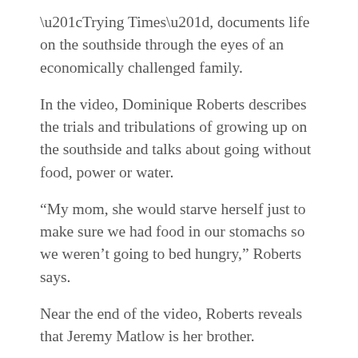“Trying Times”, documents life on the southside through the eyes of an economically challenged family.
In the video, Dominique Roberts describes the trials and tribulations of growing up on the southside and talks about going without food, power or water.
“My mom, she would starve herself just to make sure we had food in our stomachs so we weren’t going to bed hungry,” Roberts says.
Near the end of the video, Roberts reveals that Jeremy Matlow is her brother.
The video, while emotional, manages to provide independent support for Matlow’s focus on homelessness and poverty in Tallahassee by citing previously published facts.
For example, the video notes that Tallahassee is one of the